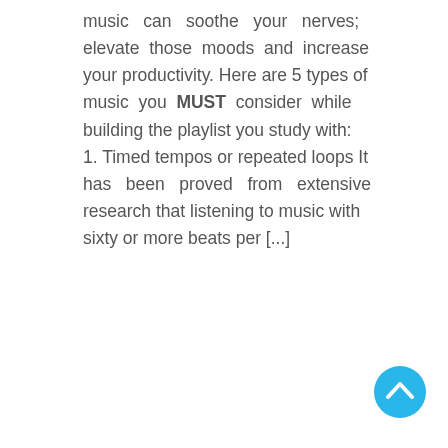music can soothe your nerves; elevate those moods and increase your productivity. Here are 5 types of music you MUST consider while building the playlist you study with: 1. Timed tempos or repeated loops It has been proved from extensive research that listening to music with sixty or more beats per [...]
Read More →
[Figure (other): Scroll-to-top button: a cyan/sky-blue filled circle with a white upward-pointing chevron arrow in the center, positioned in the bottom-right corner]